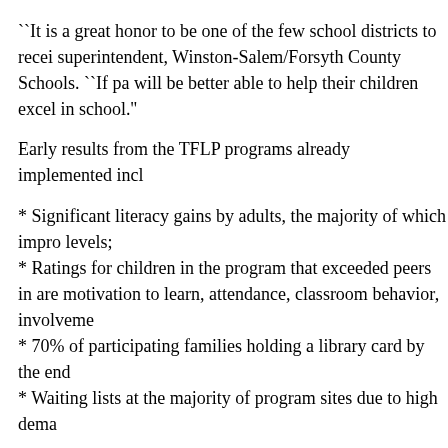``It is a great honor to be one of the few school districts to recei superintendent, Winston-Salem/Forsyth County Schools. ``If pa will be better able to help their children excel in school.''
Early results from the TFLP programs already implemented incl
* Significant literacy gains by adults, the majority of which impro levels;
* Ratings for children in the program that exceeded peers in are motivation to learn, attendance, classroom behavior, involveme
* 70% of participating families holding a library card by the end
* Waiting lists at the majority of program sites due to high dema
``Partnering with Toyota, NCFL has nurtured a proven formula o services that not only works for the participants, it works for the Sharon Darling, president and founder of NCFL. ``And, we're pr Winston-Salem has been set by the impressive gains made by literacy programs throughout the nation.''
``As we expand the successful Toyota Family Literacy Program